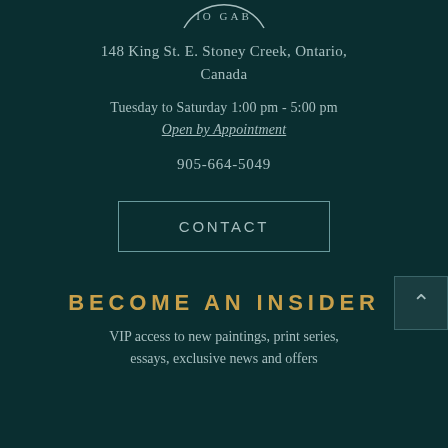[Figure (logo): Partial circular logo/seal with text 'IO GAB' visible at top]
148 King St. E. Stoney Creek, Ontario, Canada
Tuesday to Saturday 1:00 pm - 5:00 pm
Open by Appointment
905-664-5049
CONTACT
BECOME AN INSIDER
VIP access to new paintings, print series, essays, exclusive news and offers